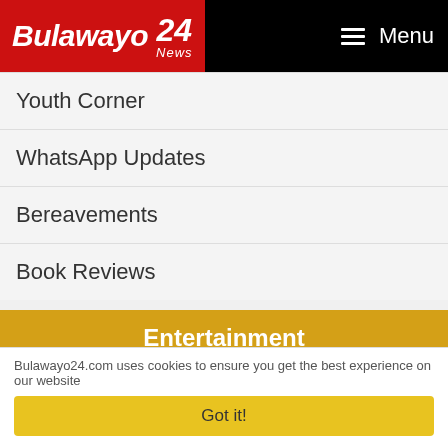Bulawayo 24 News — Menu
Youth Corner
WhatsApp Updates
Bereavements
Book Reviews
Entertainment
Music
Celebrity
Movies
Games
TV Guide
Bulawayo24.com uses cookies to ensure you get the best experience on our website
Got it!